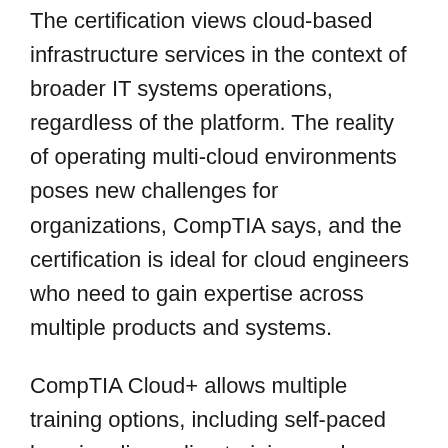The certification views cloud-based infrastructure services in the context of broader IT systems operations, regardless of the platform. The reality of operating multi-cloud environments poses new challenges for organizations, CompTIA says, and the certification is ideal for cloud engineers who need to gain expertise across multiple products and systems.
CompTIA Cloud+ allows multiple training options, including self-paced learning, live online training, and custom training and labs designed to advance the career development of IT professionals in server administration, CompTIA says. Participants in the program will learn skills including cloud architecture and design, cloud security, cloud deployment, operations and support and troubleshooting. The